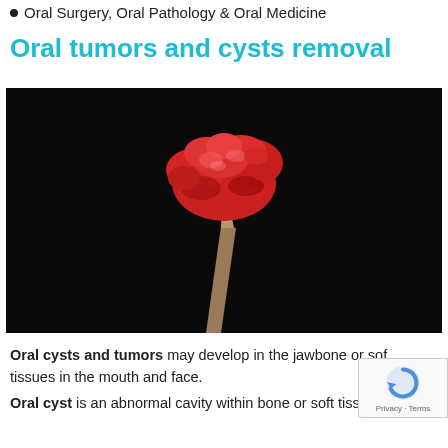Oral Surgery, Oral Pathology & Oral Medicine
Oral tumors and cysts removal
[Figure (photo): Close-up photo of a red tissue specimen (oral tumor/cyst) held on a surgical instrument against a black background]
Oral cysts and tumors may develop in the jawbone or soft tissues in the mouth and face.
Oral cyst is an abnormal cavity within bone or soft tissues